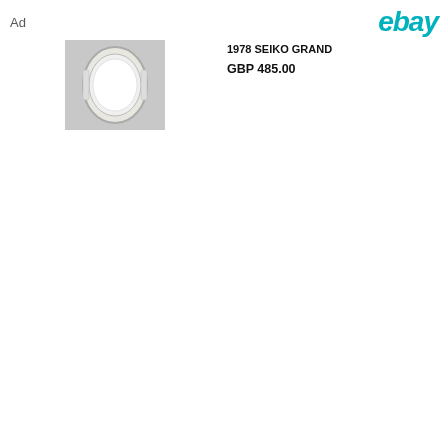Ad
[Figure (screenshot): eBay logo in teal italic text]
[Figure (photo): 1978 SEIKO GRAND watch with silver bracelet on white background]
1978 SEIKO GRAND
GBP 485.00
[Figure (photo): EXCELLENT Grand Seiko watch on dark background]
[ EXCELLENT ] Grand Seiko
$459.99
[Figure (photo): 1981 Seiko Quartz Diver black dial watch on wrist]
1981 Seiko Quartz Diver
AU $349.00
[Figure (photo): 1991 GRA SEIKO watch with black leather strap on white background]
1991 GRA SEIKO W
GBP 750
How Do You Feel About This?
63 Responses
[Figure (infographic): Three emoji reaction options: thumbs up (This Is Cool!), heart-eyes face (I Will Get One), sleeping/bored face (Not For Me)]